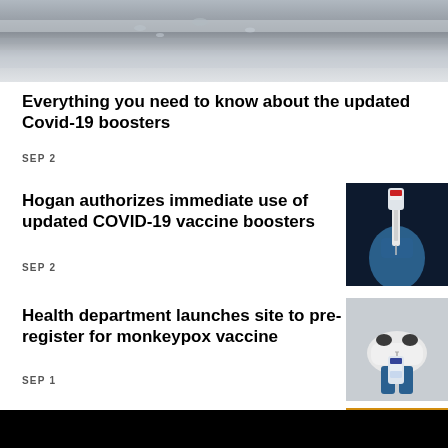[Figure (photo): Close-up of metallic medical/lab equipment surface, gray tones]
Everything you need to know about the updated Covid-19 boosters
SEP 2
Hogan authorizes immediate use of updated COVID-19 vaccine boosters
[Figure (photo): Gloved hand holding a vaccine vial and syringe against dark blue background]
SEP 2
Health department launches site to pre-register for monkeypox vaccine
[Figure (photo): Person in mask and gloves handling a vaccine vial]
SEP 1
CDC predicts longer, more severe...
[Figure (photo): Partial image with orange/yellow tones, partially cropped]